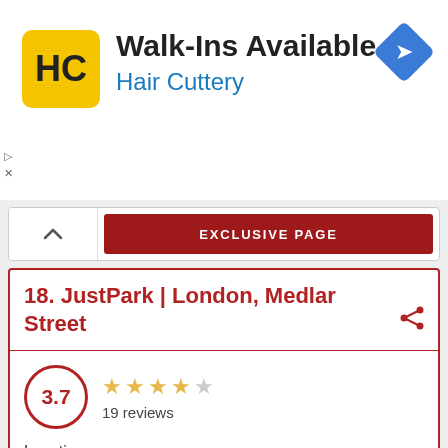[Figure (logo): Hair Cuttery HC logo — yellow square with HC initials in black]
Walk-Ins Available
Hair Cuttery
[Figure (illustration): Blue diamond navigation/directions icon]
EXCLUSIVE PAGE
18. JustPark | London, Medlar Street
3.7 — 19 reviews — 3.7 stars out of 5
Location
4
Prices/Tariffs
4.4
Offers